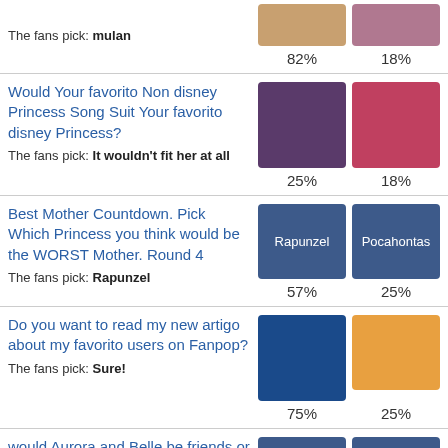The fans pick: mulan
82% / 18%
Would Your favorito Non disney Princess Song Suit Your favorito disney Princess?
The fans pick: It wouldn't fit her at all
25% / 18%
Best Mother Countdown. Pick Which Princess you think would be the WORST Mother. Round 4
The fans pick: Rapunzel
57% / 25%
Do you want to read my new artigo about my favorito users on Fanpop?
The fans pick: Sure!
75% / 25%
would Aurora and Belle be friends or not?
The fans pick: mais like aquaintances
57% / 29%